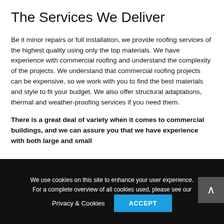The Services We Deliver
Be it minor repairs or full installation, we provide roofing services of the highest quality using only the top materials. We have experience with commercial roofing and understand the complexity of the projects. We understand that commercial roofing projects can be expensive, so we work with you to find the best materials and style to fit your budget. We also offer structural adaptations, thermal and weather-proofing services if you need them.
There is a great deal of variety when it comes to commercial buildings, and we can assure you that we have experience with both large and small
We use cookies on this site to enhance your user experience. For a complete overview of all cookies used, please see our Privacy & Cookies   ACCEPT